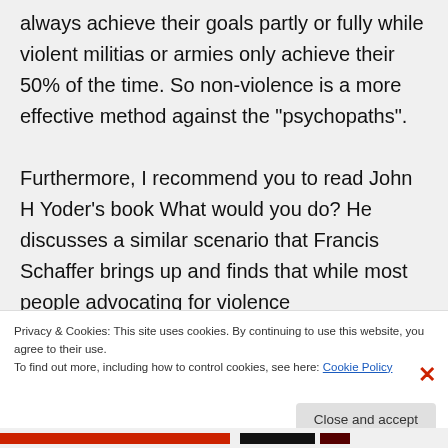always achieve their goals partly or fully while violent militias or armies only achieve their 50% of the time. So non-violence is a more effective method against the "psychopaths".

Furthermore, I recommend you to read John H Yoder's book What would you do? He discusses a similar scenario that Francis Schaffer brings up and finds that while most people advocating for violence
Privacy & Cookies: This site uses cookies. By continuing to use this website, you agree to their use.
To find out more, including how to control cookies, see here: Cookie Policy